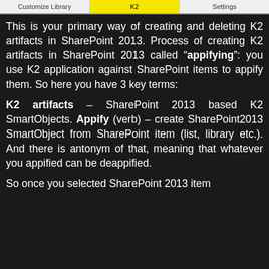[Figure (screenshot): Navigation bar with three tabs: Customize Library, K2 (highlighted in yellow), and Settings]
This is your primary way of creating and deleting K2 artifacts in SharePoint 2013. Process of creating K2 artifacts in SharePoint 2013 called “appifying”: you use K2 application against SharePoint items to appify them. So here you have 3 key terms:
K2 artifacts – SharePoint 2013 based K2 SmartObjects. Appify (verb) – create SharePoint2013 SmartObject from SharePoint item (list, library etc.). And there is antonym of that, meaning that whatever you appified can be deappified.
So once you selected SharePoint 2013 item